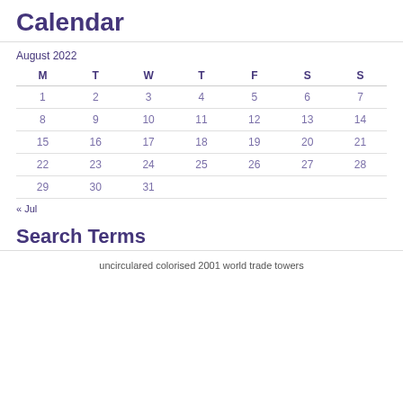Calendar
August 2022
| M | T | W | T | F | S | S |
| --- | --- | --- | --- | --- | --- | --- |
| 1 | 2 | 3 | 4 | 5 | 6 | 7 |
| 8 | 9 | 10 | 11 | 12 | 13 | 14 |
| 15 | 16 | 17 | 18 | 19 | 20 | 21 |
| 22 | 23 | 24 | 25 | 26 | 27 | 28 |
| 29 | 30 | 31 |  |  |  |  |
« Jul
Search Terms
uncirculared colorised 2001 world trade towers